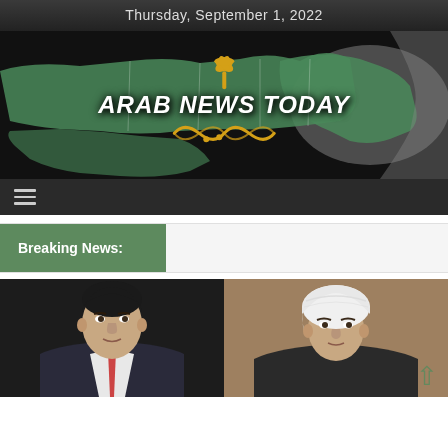Thursday, September 1, 2022
[Figure (logo): Arab News Today logo with map of Arab world in green on dark background, palm tree icon, and stylized swoosh design]
[Figure (other): Navigation bar with hamburger menu icon]
Breaking News:
[Figure (photo): Two photos side by side: left shows a man in a suit (dark background), right shows a man wearing a white turban (brown/tan background) with a green scroll-up arrow overlay]